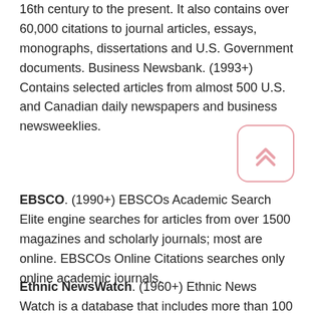16th century to the present. It also contains over 60,000 citations to journal articles, essays, monographs, dissertations and U.S. Government documents. Business Newsbank. (1993+) Contains selected articles from almost 500 U.S. and Canadian daily newspapers and business newsweeklies.
[Figure (other): A rounded square button with a double upward chevron arrow icon, outlined in pink/rose color]
EBSCO. (1990+) EBSCOs Academic Search Elite engine searches for articles from over 1500 magazines and scholarly journals; most are online. EBSCOs Online Citations searches only online academic journals.
Ethnic NewsWatch. (1960+) Ethnic News Watch is a database that includes more than 100 ethnic and